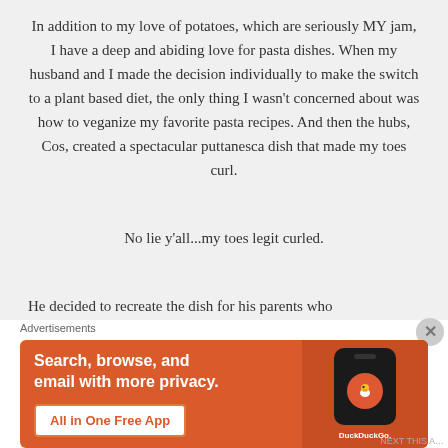In addition to my love of potatoes, which are seriously MY jam, I have a deep and abiding love for pasta dishes. When my husband and I made the decision individually to make the switch to a plant based diet, the only thing I wasn't concerned about was how to veganize my favorite pasta recipes. And then the hubs, Cos, created a spectacular puttanesca dish that made my toes curl.
No lie y'all...my toes legit curled.
He decided to recreate the dish for his parents who
Advertisements
[Figure (screenshot): DuckDuckGo advertisement banner. Orange background with text 'Search, browse, and email with more privacy.' and 'All in One Free App' button. Right side shows a phone with DuckDuckGo logo and 'DuckDuckGo.' text.]